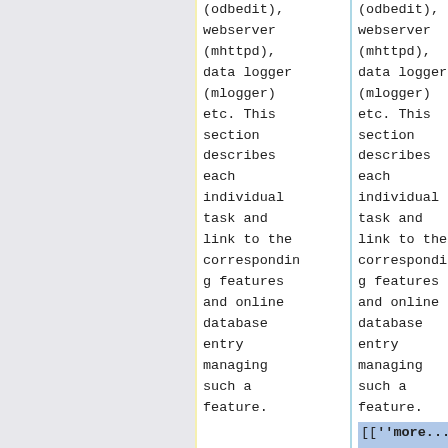(odbedit), webserver (mhttpd), data logger (mlogger) etc. This section describes each individual task and link to the corresponding features and online database entry managing such a feature.
(odbedit), webserver (mhttpd), data logger (mlogger) etc. This section describes each individual task and link to the corresponding features and online database entry managing such a feature. [['more...'']]